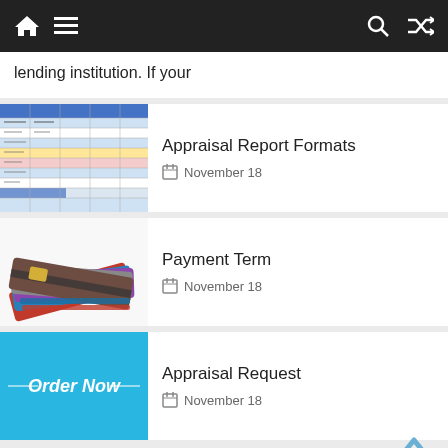Navigation bar with home, menu, search, and shuffle icons
lending institution. If your
Appraisal Report Formats
November 18
[Figure (screenshot): Appraisal report spreadsheet thumbnail]
Payment Term
November 18
[Figure (photo): Stack of credit cards fanned out thumbnail]
Appraisal Request
November 18
[Figure (infographic): Blue banner with 'Order Now' text in italic white font]
Appraisal Fee Schedule Guide